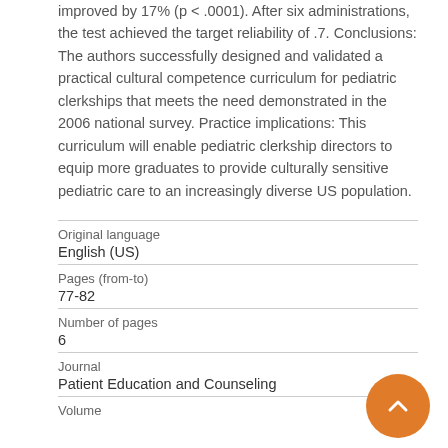improved by 17% (p < .0001). After six administrations, the test achieved the target reliability of .7. Conclusions: The authors successfully designed and validated a practical cultural competence curriculum for pediatric clerkships that meets the need demonstrated in the 2006 national survey. Practice implications: This curriculum will enable pediatric clerkship directors to equip more graduates to provide culturally sensitive pediatric care to an increasingly diverse US population.
| Original language | English (US) |
| Pages (from-to) | 77-82 |
| Number of pages | 6 |
| Journal | Patient Education and Counseling |
| Volume |  |